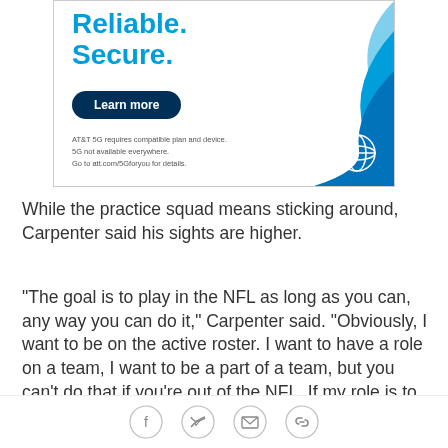[Figure (illustration): AT&T advertisement banner showing 'Reliable. Secure.' in bold blue text, a 'Learn more' dark blue button, a blue wave graphic in the bottom right corner, the AT&T globe logo, and fine print text about AT&T 5G requirements.]
While the practice squad means sticking around, Carpenter said his sights are higher.
"The goal is to play in the NFL as long as you can, any way you can do it," Carpenter said. "Obviously, I want to be on the active roster. I want to have a role on a team, I want to be a part of a team, but you can't do that if you're out of the NFL. If my role is to be a practice squad quarterback, then that's what I'm going to do. But obviously, like everybody else in this locker room, I
Social share icons: Facebook, Twitter, Email, Link